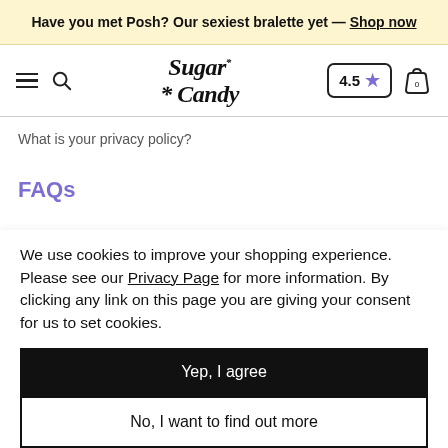Have you met Posh? Our sexiest bralette yet — Shop now
[Figure (screenshot): Sugar Candy logo with navigation: hamburger menu, search icon, Sugar Candy brand logo, 4.5 star rating box, and shopping bag icon]
What is your privacy policy?
FAQs
We use cookies to improve your shopping experience. Please see our Privacy Page for more information. By clicking any link on this page you are giving your consent for us to set cookies.
Yep, I agree
No, I want to find out more